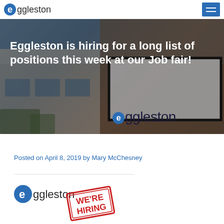eggleston [logo] [hamburger menu]
[Figure (photo): Eggleston building exterior with large sign reading 'eggleston', with overlaid white bold text: 'Eggleston is hiring for a long list of positions this week at our Job fair!']
Posted on April 8, 2019 by Mary McChesney
[Figure (logo): Eggleston logo with 'eggleston' text and a red stamp overlay reading 'WE'RE HIRING']